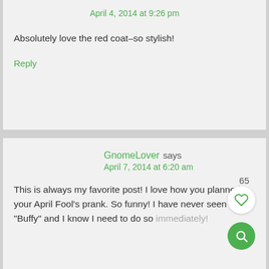April 4, 2014 at 9:26 pm
Absolutely love the red coat–so stylish!
Reply
GnomeLover says
April 7, 2014 at 6:20 am
This is always my favorite post! I love how you planned your April Fool's prank. So funny! I have never seen "Buffy" and I know I need to do so immediately!